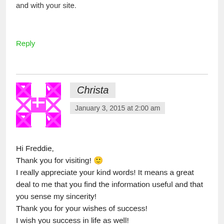and with your site.
Reply
Christa
January 3, 2015 at 2:00 am
Hi Freddie,
Thank you for visiting! 🙂
I really appreciate your kind words! It means a great deal to me that you find the information useful and that you sense my sincerity!
Thank you for your wishes of success!
I wish you success in life as well!
Christa